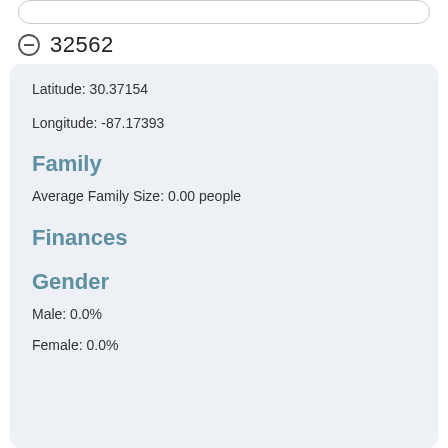32562
Latitude: 30.37154
Longitude: -87.17393
Family
Average Family Size: 0.00 people
Finances
Gender
Male: 0.0%
Female: 0.0%